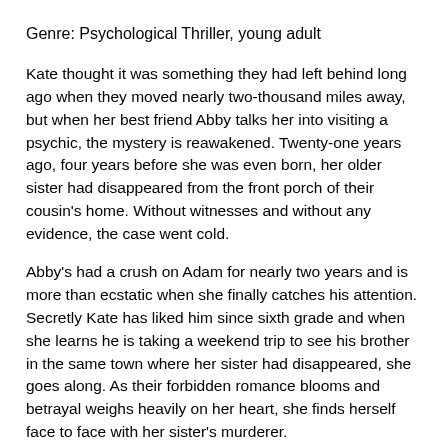Genre: Psychological Thriller, young adult
Kate thought it was something they had left behind long ago when they moved nearly two-thousand miles away, but when her best friend Abby talks her into visiting a psychic, the mystery is reawakened. Twenty-one years ago, four years before she was even born, her older sister had disappeared from the front porch of their cousin’s home. Without witnesses and without any evidence, the case went cold.
Abby’s had a crush on Adam for nearly two years and is more than ecstatic when she finally catches his attention. Secretly Kate has liked him since sixth grade and when she learns he is taking a weekend trip to see his brother in the same town where her sister had disappeared, she goes along. As their forbidden romance blooms and betrayal weighs heavily on her heart, she finds herself face to face with her sister’s murderer.
Paperback and Ebook
Amazon